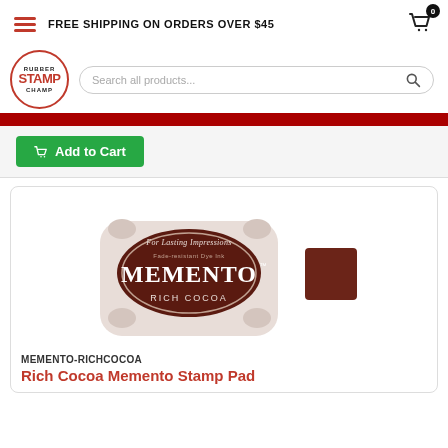FREE SHIPPING ON ORDERS OVER $45
[Figure (logo): Rubber Stamp Champ circular logo with red text]
Search all products...
Add to Cart
[Figure (photo): Memento Rich Cocoa stamp pad ink product image with color swatch]
MEMENTO-RICHCOCOA
Rich Cocoa Memento Stamp Pad